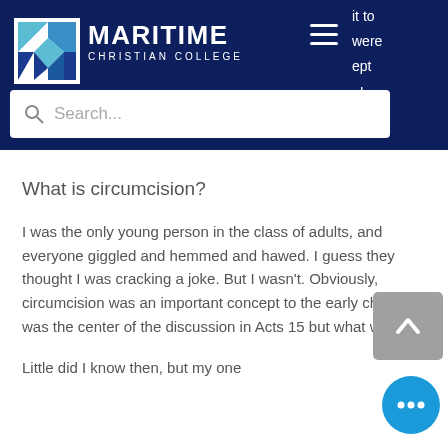[Figure (logo): Maritime Christian College logo — stylized M made of teal/blue geometric shapes on white background with dark border]
MARITIME CHRISTIAN COLLEGE
it to were cept , I
Search...
What is circumcision?
I was the only young person in the class of adults, and everyone giggled and hemmed and hawed.  I guess they thought I was cracking a joke.  But I wasn't.  Obviously, circumcision was an important concept to the early church.  It was the center of the discussion in Acts 15 but what was it?
Little did I know then, but my one